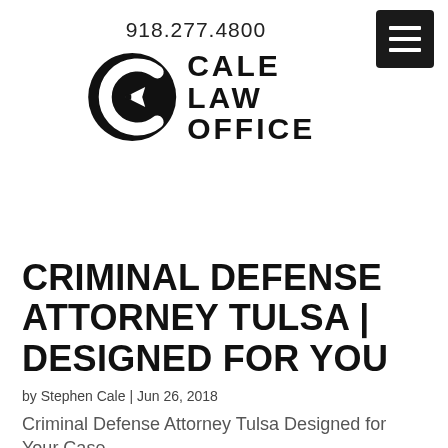918.277.4800
[Figure (logo): Cale Law Office logo with a circular emblem containing a pen nib arrow and the text CALE LAW OFFICE in bold uppercase letters]
CRIMINAL DEFENSE ATTORNEY TULSA | DESIGNED FOR YOU
by Stephen Cale | Jun 26, 2018
Criminal Defense Attorney Tulsa Designed for Your Case